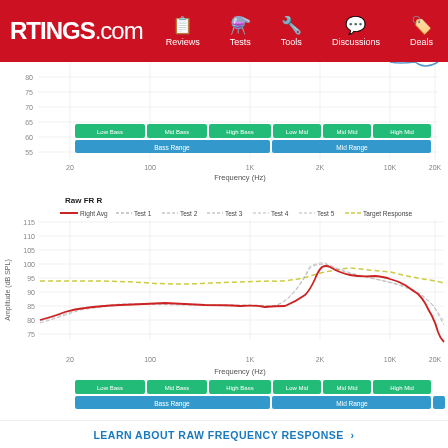RTINGS.com | Reviews | Tests | Tools | Discussions | Deals
[Figure (continuous-plot): Partial frequency response chart (top), showing amplitude vs frequency with colored range bands (Low Bass, Mid Bass, High Bass, Low Mid, Mid Mid, High Mid, Low Treble, Mid Treble, High Treble) and Bass Range, Mid Range, Treble Range labels. Y-axis from ~55 to 80+, X-axis from 20 to 20K Hz.]
[Figure (continuous-plot): Raw frequency response chart for Right channel. Shows Right Avg (solid red), Test 1-5 (dashed lines), and Target Response (dashed yellow). Y-axis: Amplitude (dB SPL) from ~55 to 115. X-axis: Frequency (Hz) from 20 to 20K. Signal rises from ~82 dB at 20Hz, plateaus around 88-90 dB mid-range, peaks near 100 dB around 2-3K, then drops and oscillates at high frequencies. Same colored frequency band labels at bottom.]
LEARN ABOUT RAW FREQUENCY RESPONSE >